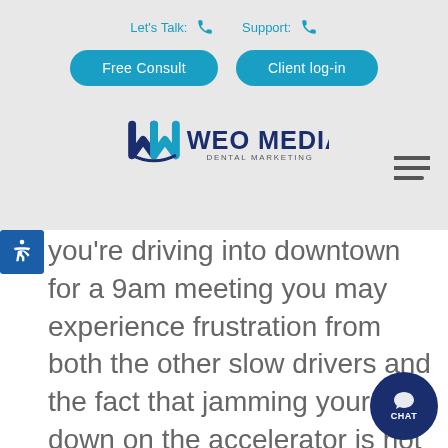Let's Talk:  Support:
Free Consult   Client log-in
[Figure (logo): WEO Media Dental Marketing logo with stylized 'wm' monogram in dark blue]
[Figure (other): Hamburger menu icon (three horizontal lines)]
you're driving into downtown for a 9am meeting you may experience frustration from both the other slow drivers and the fact that jamming your foot down on the accelerator is not actually getting you there any faster. you relate?